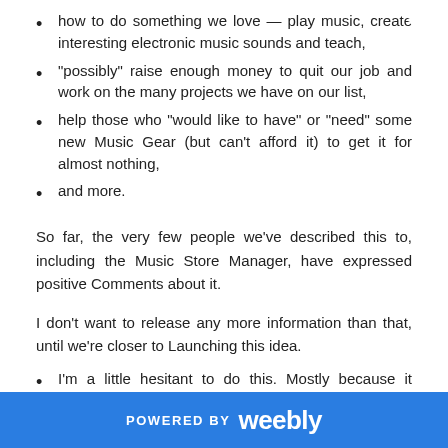how to do something we love — play music, create interesting electronic music sounds and teach,
"possibly" raise enough money to quit our job and work on the many projects we have on our list,
help those who "would like to have" or "need" some new Music Gear (but can't afford it) to get it for almost nothing,
and more.
So far, the very few people we've described this to, including the Music Store Manager, have expressed positive Comments about it.
I don't want to release any more information than that, until we're closer to Launching this idea.
I'm a little hesitant to do this. Mostly because it involves a "change" and I have to rely on my "Reasoning" braincells, in order to be sure I do everything correctly. Sylvia does help me a lot, throughout the day but if I'm stressed, I don't receive her communications correctly. Plus, any final decision Sylvia and I make on THIS side of the "Veil" have to come from "me". Just as... any final decisions we make, regarding the OTHER
POWERED BY weebly